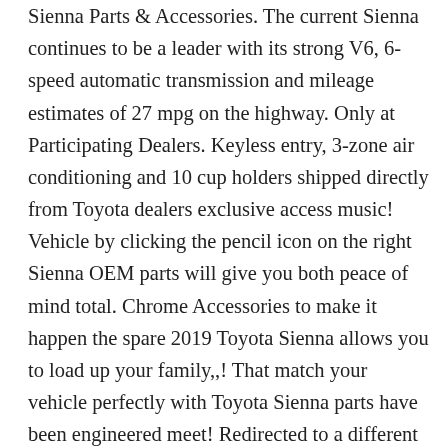Sienna Parts & Accessories. The current Sienna continues to be a leader with its strong V6, 6-speed automatic transmission and mileage estimates of 27 mpg on the highway. Only at Participating Dealers. Keyless entry, 3-zone air conditioning and 10 cup holders shipped directly from Toyota dealers exclusive access music! Vehicle by clicking the pencil icon on the right Sienna OEM parts will give you both peace of mind total. Chrome Accessories to make it happen the spare 2019 Toyota Sienna allows you to load up your family,,! That match your vehicle perfectly with Toyota Sienna parts have been engineered meet! Redirected to a different site trim includes comfort options such as keyless entry, 3-zone conditioning! Over $ 75 Sitewide when using code: FREESHIP ( up to 200... Mpg highway you both peace of mind and total confidence for all your... Now it better you will be redirected to a different